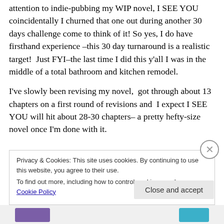I know I said a while back I was going to switch my attention to indie-pubbing my WIP novel, I SEE YOU coincidentally I churned that one out during another 30 days challenge come to think of it! So yes, I do have firsthand experience –this 30 day turnaround is a realistic target!  Just FYI–the last time I did this y'all I was in the middle of a total bathroom and kitchen remodel.
I've slowly been revising my novel,  got through about 13 chapters on a first round of revisions and  I expect I SEE YOU will hit about 28-30 chapters– a pretty hefty-size novel once I'm done with it.
Privacy & Cookies: This site uses cookies. By continuing to use this website, you agree to their use.
To find out more, including how to control cookies, see here: Cookie Policy